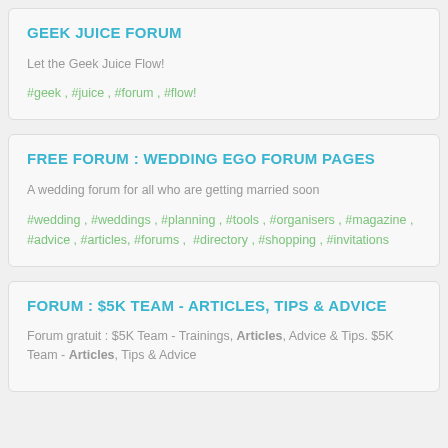GEEK JUICE FORUM
Let the Geek Juice Flow!
#geek , #juice , #forum , #flow!
FREE FORUM : WEDDING EGO FORUM PAGES
A wedding forum for all who are getting married soon
#wedding , #weddings , #planning , #tools , #organisers , #magazine , #advice , #articles, #forums , #directory , #shopping , #invitations
FORUM : $5K TEAM - ARTICLES, TIPS & ADVICE
Forum gratuit : $5K Team - Trainings, Articles, Advice & Tips. $5K Team - Articles, Tips & Advice